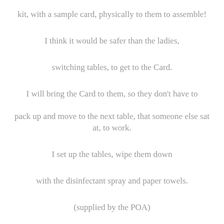kit, with a sample card, physically to them to assemble!
I think it would be safer than the ladies,
switching tables, to get to the Card.
I will bring the Card to them, so they don't have to
pack up and move to the next table, that someone else sat at, to work.
I set up the tables, wipe them down
with the disinfectant spray and paper towels.
(supplied by the POA)